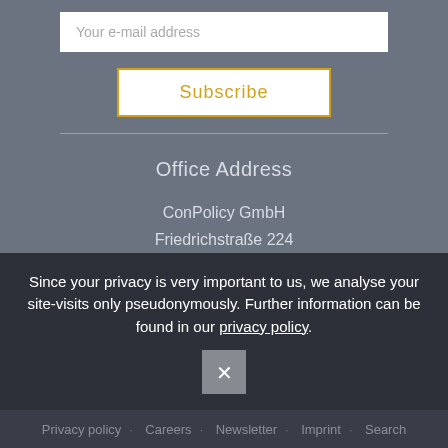Your e-mail address
Subscribe
Office Address
ConPolicy GmbH
Friedrichstraße 224
10969 Berlin
Germany
contact@conpolicy.de
Since your privacy is very important to us, we analyse your site-visits only pseudonymously. Further information can be found in our privacy policy.
Privacy policy   Careers   Newsletter   Imprint   Search